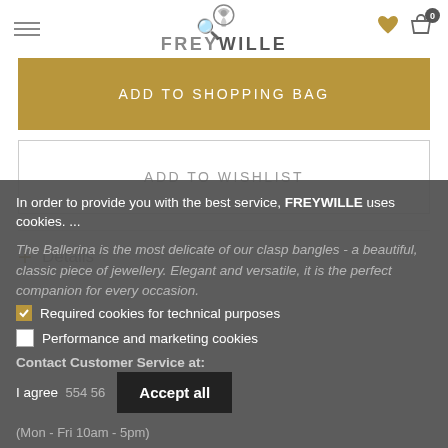FREYWILLE
ADD TO SHOPPING BAG
ADD TO WISHLIST
+ Details
In order to provide you with the best service, FREYWILLE uses cookies. ...
The Ballerina is the most delicate of our clasp bangles - a beautiful, classic piece of jewellery. Elegant and versatile, it is the perfect companion for every occasion.
Required cookies for technical purposes
Performance and marketing cookies
Contact Customer Service at:
I agree
Accept all
(Mon - Fri 10am - 5pm)